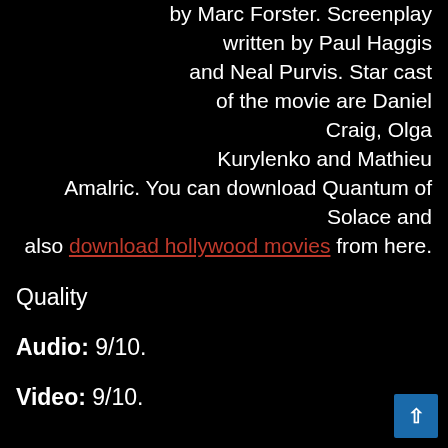by Marc Forster. Screenplay written by Paul Haggis and Neal Purvis. Star cast of the movie are Daniel Craig, Olga Kurylenko and Mathieu Amalric. You can download Quantum of Solace and also download hollywood movies from here.
Quality
Audio: 9/10.
Video: 9/10.